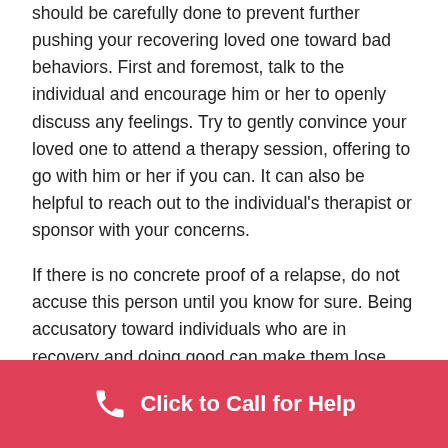should be carefully done to prevent further pushing your recovering loved one toward bad behaviors. First and foremost, talk to the individual and encourage him or her to openly discuss any feelings. Try to gently convince your loved one to attend a therapy session, offering to go with him or her if you can. It can also be helpful to reach out to the individual's therapist or sponsor with your concerns.
If there is no concrete proof of a relapse, do not accuse this person until you know for sure. Being accusatory toward individuals who are in recovery and doing good can make them lose interest in trying to remain sober because their family members suspect they are using anyway. Lead conversations
[Figure (other): Red call-to-action bar with phone icon and text 'Click to Call for Help']